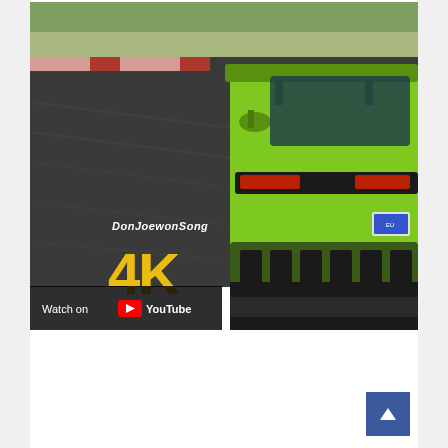[Figure (screenshot): YouTube video thumbnail showing a lime-green Porsche sports car (rear view) on a racetrack. The car has a large rear wing and the track has a red curb visible. An overlaid '4K' text in gold and the channel name 'DonJoewonSong' in italic white are visible. A 'Watch on YouTube' button bar appears at the bottom left of the thumbnail.]